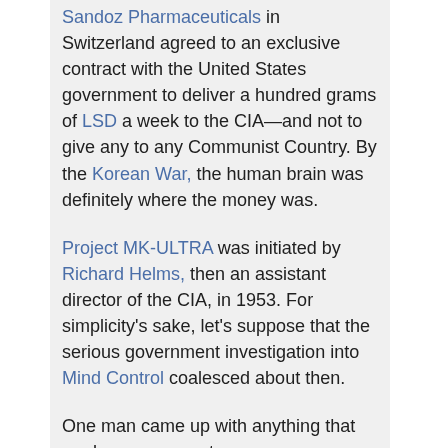Sandoz Pharmaceuticals in Switzerland agreed to an exclusive contract with the United States government to deliver a hundred grams of LSD a week to the CIA—and not to give any to any Communist Country. By the Korean War, the human brain was definitely where the money was.
Project MK-ULTRA was initiated by Richard Helms, then an assistant director of the CIA, in 1953. For simplicity's sake, let's suppose that the serious government investigation into Mind Control coalesced about then.
One man came up with anything that made any sense at